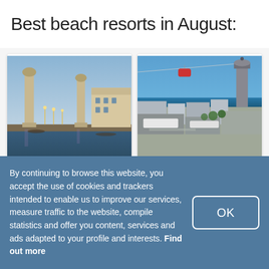Best beach resorts in August:
[Figure (photo): Photo of Venice, Italy — two tall columns at the waterfront with warm street lighting at dusk, classical architecture in background]
Venice
Italy
[Figure (photo): Aerial photo of Barcelona, Spain — cable car gondola over the port with the sea and city in background]
Barcelona
Spain
By continuing to browse this website, you accept the use of cookies and trackers intended to enable us to improve our services, measure traffic to the website, compile statistics and offer you content, services and ads adapted to your profile and interests. Find out more